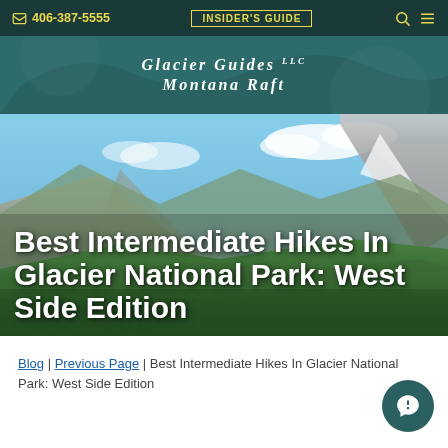406-387-5555 | INSIDER'S GUIDE
[Figure (logo): Glacier Guides LLC Montana Raft logo in white italic serif text on dark teal background]
[Figure (photo): Aerial mountain landscape of Glacier National Park showing green valleys, rocky peaks, and blue sky with clouds]
Best Intermediate Hikes In Glacier National Park: West Side Edition
Blog | Previous Page | Best Intermediate Hikes In Glacier National Park: West Side Edition